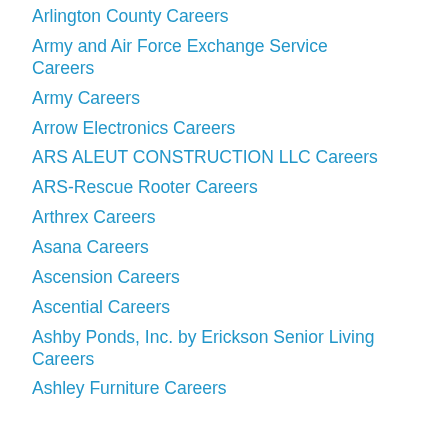Arlington County Careers
Army and Air Force Exchange Service Careers
Army Careers
Arrow Electronics Careers
ARS ALEUT CONSTRUCTION LLC Careers
ARS-Rescue Rooter Careers
Arthrex Careers
Asana Careers
Ascension Careers
Ascential Careers
Ashby Ponds, Inc. by Erickson Senior Living Careers
Ashley Furniture Careers